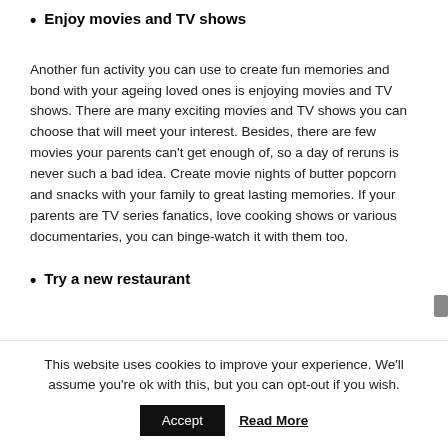Enjoy movies and TV shows
Another fun activity you can use to create fun memories and bond with your ageing loved ones is enjoying movies and TV shows. There are many exciting movies and TV shows you can choose that will meet your interest. Besides, there are few movies your parents can't get enough of, so a day of reruns is never such a bad idea. Create movie nights of butter popcorn and snacks with your family to great lasting memories. If your parents are TV series fanatics, love cooking shows or various documentaries, you can binge-watch it with them too.
Try a new restaurant
This website uses cookies to improve your experience. We'll assume you're ok with this, but you can opt-out if you wish.